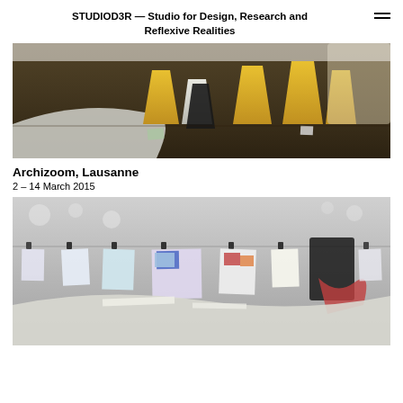STUDIOD3R — Studio for Design, Research and Reflexive Realities
[Figure (photo): Interior of an exhibition space with yellow and white truncated pyramid-shaped structures on a dark floor, with papers and materials scattered around.]
Archizoom, Lausanne
2 – 14 March 2015
[Figure (photo): Close-up of an exhibition installation with papers, brochures, and documents clipped and hanging, with a curved white surface below.]